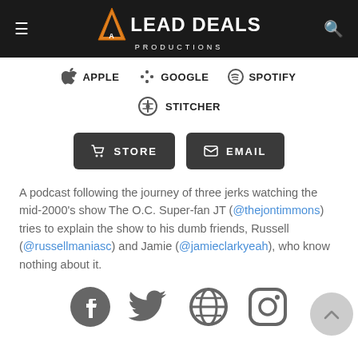LEAD DEALS PRODUCTIONS
APPLE
GOOGLE
SPOTIFY
STITCHER
STORE
EMAIL
A podcast following the journey of three jerks watching the mid-2000's show The O.C. Super-fan JT (@thejontimmons) tries to explain the show to his dumb friends, Russell (@russellmaniasc) and Jamie (@jamieclarkyeah), who know nothing about it.
[Figure (infographic): Social media icons: Facebook, Twitter, Globe/Website, Instagram]